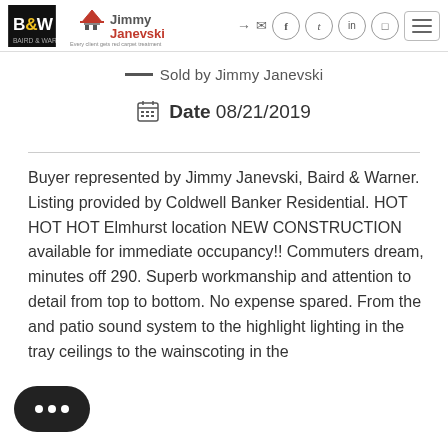B&W | Jimmy Janevski — Every client gets red carpet treatment
Sold by Jimmy Janevski
Date 08/21/2019
Buyer represented by Jimmy Janevski, Baird & Warner. Listing provided by Coldwell Banker Residential. HOT HOT HOT Elmhurst location NEW CONSTRUCTION available for immediate occupancy!! Commuters dream, minutes off 290. Superb workmanship and attention to detail from top to bottom. No expense spared. From the and patio sound system to the highlight lighting in the tray ceilings to the wainscoting in the